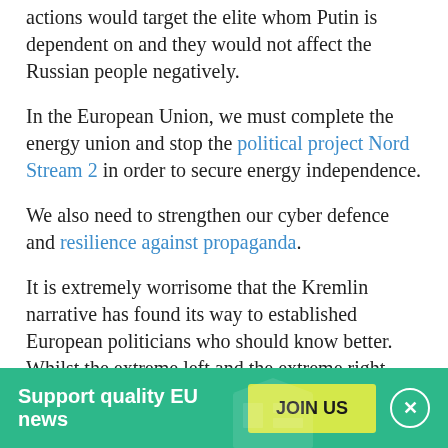actions would target the elite whom Putin is dependent on and they would not affect the Russian people negatively.
In the European Union, we must complete the energy union and stop the political project Nord Stream 2 in order to secure energy independence.
We also need to strengthen our cyber defence and resilience against propaganda.
It is extremely worrisome that the Kremlin narrative has found its way to established European politicians who should know better. Whilst the extreme left and the extreme right continuously repeat the Kremlin narrative
Support quality EU news  JOIN US